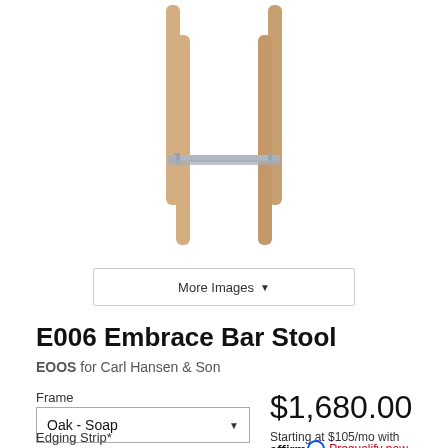[Figure (photo): E006 Embrace Bar Stool product photo showing wooden bar stool with four tapered oak legs and a metal footrest rail, viewed from front, on white background]
More Images ▼
E006 Embrace Bar Stool
EOOS for Carl Hansen & Son
Frame
Oak - Soap
$1,680.00
Starting at $105/mo with
Edging Strip*
affirm. Prequalify now